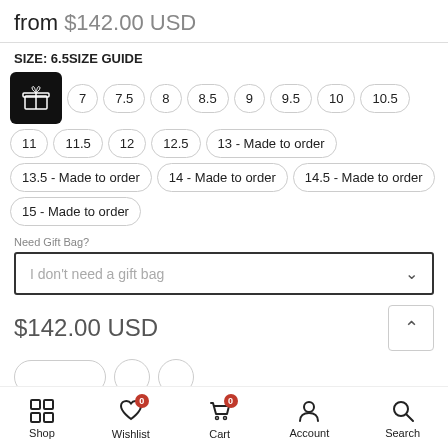from $142.00 USD
SIZE: 6.5 SIZE GUIDE
6.5 (gift icon), 7, 7.5, 8, 8.5, 9, 9.5, 10, 10.5, 11, 11.5, 12, 12.5, 13 - Made to order, 13.5 - Made to order, 14 - Made to order, 14.5 - Made to order, 15 - Made to order
Need Gift Bag?
I don't need a gift bag
$142.00 USD
Shop | Wishlist 0 | Cart 0 | Account | Search